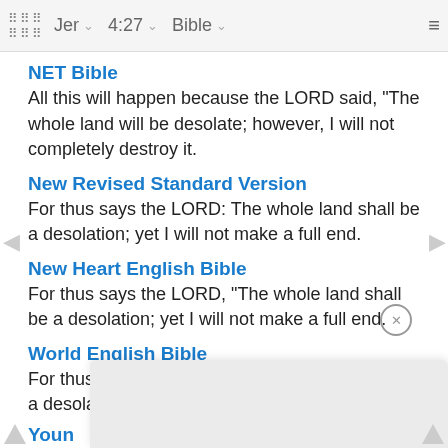Jer  4:27  Bible
NET Bible
All this will happen because the LORD said, "The whole land will be desolate; however, I will not completely destroy it.
New Revised Standard Version
For thus says the LORD: The whole land shall be a desolation; yet I will not make a full end.
New Heart English Bible
For thus says the LORD, "The whole land shall be a desolation; yet I will not make a full end.
World English Bible
For thus says Yahweh, "The whole land shall be a desolation; yet will I not make a full end.
Youn
For th                                                    on,